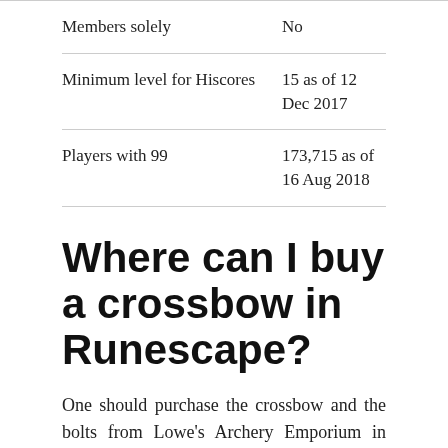|  |  |
| --- | --- |
| Members solely | No |
| Minimum level for Hiscores | 15 as of 12 Dec 2017 |
| Players with 99 | 173,715 as of 16 Aug 2018 |
Where can I buy a crossbow in Runescape?
One should purchase the crossbow and the bolts from Lowe's Archery Emporium in Varrock, and the crossbow in the Graveyard of Shadows and the Bone Yard.
How do you make a steel crossbow in Runescape?